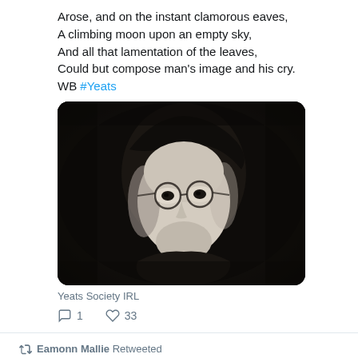Arose, and on the instant clamorous eaves,
A climbing moon upon an empty sky,
And all that lamentation of the leaves,
Could but compose man's image and his cry.
WB #Yeats
[Figure (photo): Black and white portrait photograph of a young WB Yeats wearing round wire-rimmed glasses, dark hair, looking at camera]
Yeats Society IRL
1 reply, 33 likes
Eamonn Mallie Retweeted
Edward Lee Po... @PoetryEd... · 12h
New poetry collection 'A Foetal Heart' now available via link in bio